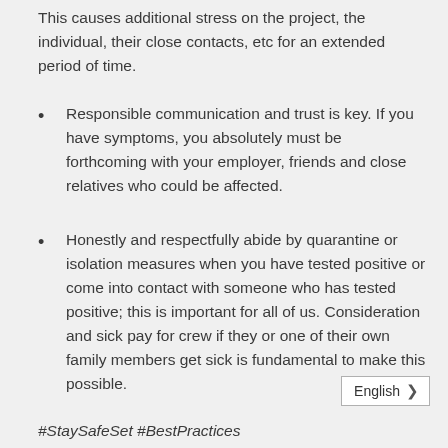This causes additional stress on the project, the individual, their close contacts, etc for an extended period of time.
Responsible communication and trust is key. If you have symptoms, you absolutely must be forthcoming with your employer, friends and close relatives who could be affected.
Honestly and respectfully abide by quarantine or isolation measures when you have tested positive or come into contact with someone who has tested positive; this is important for all of us. Consideration and sick pay for crew if they or one of their own family members get sick is fundamental to make this possible.
English >
#StaySafeSet #BestPractices